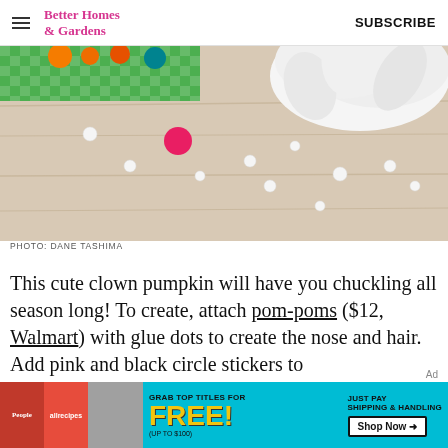Better Homes & Gardens  SUBSCRIBE
[Figure (photo): Photo of colorful pom-poms scattered on a light wood floor, with a white tissue paper decoration and a green and white checkered paper in the background. Various colored balls visible including orange, pink, teal, and white.]
PHOTO: DANE TASHIMA
This cute clown pumpkin will have you chuckling all season long! To create, attach pom-poms ($12, Walmart) with glue dots to create the nose and hair. Add pink and black circle stickers to
[Figure (infographic): Advertisement banner: Grab top titles for FREE! (Up to $100) Just pay shipping & handling. Shop Now. Features People and allrecipes magazine covers.]